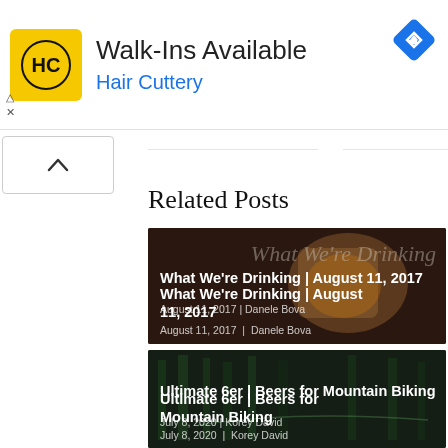[Figure (infographic): Hair Cuttery advertisement banner with yellow logo showing HC initials, headline 'Walk-Ins Available', subheading 'Hair Cuttery' in blue, and a blue diamond-shaped navigation icon on the right. Small ad disclosure icons (triangle and X) on the left.]
[Figure (other): Scroll-up chevron button (^) in a white rounded rectangle box on the left sidebar.]
Related Posts
[Figure (photo): Dark photo of a glass jar with 'What We're Drinking' text overlaid in light italic serif font. Card shows blog post title and metadata.]
What We're Drinking | August 11, 2017
August 11, 2017 | Danele Bova
[Figure (photo): Dark forest photo for mountain biking beer post. Card shows blog post title and metadata.]
Ultimate 6er | Beers for Mountain Biking
July 8, 2020 | Korey David